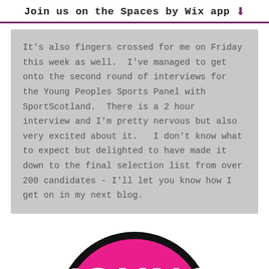Join us on the Spaces by Wix app
It's also fingers crossed for me on Friday this week as well.  I've managed to get onto the second round of interviews for the Young Peoples Sports Panel with SportScotland.  There is a 2 hour interview and I'm pretty nervous but also very excited about it.   I don't know what to expect but delighted to have made it down to the final selection list from over 200 candidates - I'll let you know how I get on in my next blog.
[Figure (logo): YOUNG logo — circular badge with black border, magenta/pink background, white bold text reading YOUNG]